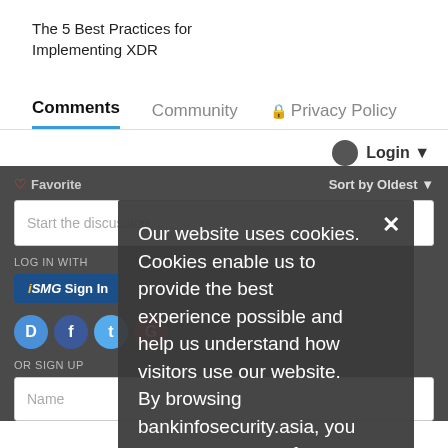The 5 Best Practices for Implementing XDR
Comments   Community   🔒 Privacy Policy
Login ▾
♥ Favorite  Sort by Oldest ▾
Start the discussion...
LOG IN WITH
iSMG Sign In
OR SIGN UP
Name
Our website uses cookies. Cookies enable us to provide the best experience possible and help us understand how visitors use our website. By browsing bankinfosecurity.asia, you agree to our use of cookies.